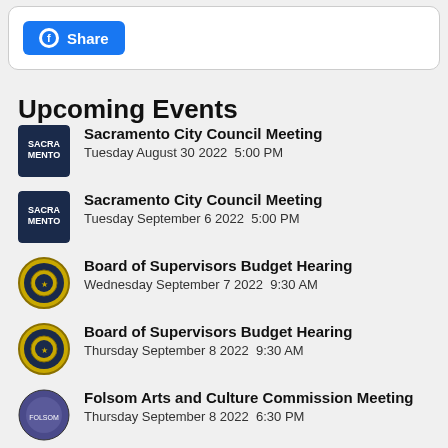[Figure (screenshot): Facebook Share button (blue rounded rectangle with Facebook logo and 'Share' text)]
Upcoming Events
Sacramento City Council Meeting
Tuesday August 30 2022  5:00 PM
Sacramento City Council Meeting
Tuesday September 6 2022  5:00 PM
Board of Supervisors Budget Hearing
Wednesday September 7 2022  9:30 AM
Board of Supervisors Budget Hearing
Thursday September 8 2022  9:30 AM
Folsom Arts and Culture Commission Meeting
Thursday September 8 2022  6:30 PM
Citrus Heights City Council Meeting